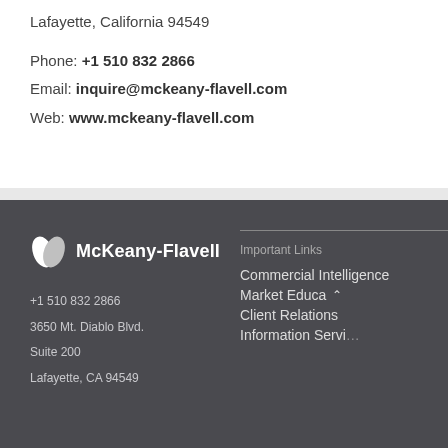Lafayette, California 94549
Phone: +1 510 832 2866
Email: inquire@mckeany-flavell.com
Web: www.mckeany-flavell.com
[Figure (logo): McKeany-Flavell logo with leaf icon and company name]
+1 510 832 2866
3650 Mt. Diablo Blvd.
Suite 200
Lafayette, CA 94549
Important Links
Commercial Intelligence
Market Educa
Client Relations
Information Services